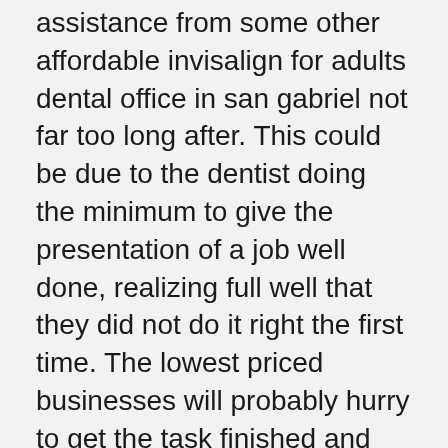assistance from some other affordable invisalign for adults dental office in san gabriel not far too long after. This could be due to the dentist doing the minimum to give the presentation of a job well done, realizing full well that they did not do it right the first time. The lowest priced businesses will probably hurry to get the task finished and have employed a significantly a lot less skillful staff. Skepticism should be heightened if the price of the affordable invisalign for adults dental office is too good to be real.
The Significance of Selecting Dentists with